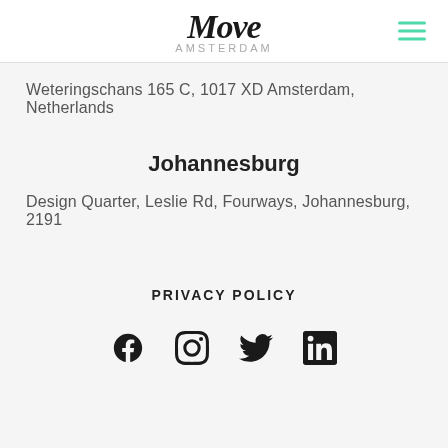Move Amsterdam
Weteringschans 165 C, 1017 XD Amsterdam, Netherlands
Johannesburg
Design Quarter, Leslie Rd, Fourways, Johannesburg, 2191
PRIVACY POLICY
[Figure (other): Social media icons: Facebook, Instagram, Twitter, LinkedIn]